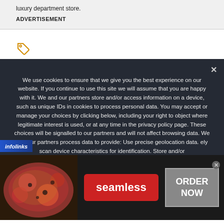luxury department store.
ADVERTISEMENT
[Figure (other): Orange tag/label icon]
We use cookies to ensure that we give you the best experience on our website. If you continue to use this site we will assume that you are happy with it. We and our partners store and/or access information on a device, such as unique IDs in cookies to process personal data. You may accept or manage your choices by clicking below, including your right to object where legitimate interest is used, or at any time in the privacy policy page. These choices will be signalled to our partners and will not affect browsing data. We and our partners process data to provide: Use precise geolocation data. ely scan device characteristics for identification. Store and/or
[Figure (screenshot): Infolinks ad bar at bottom left]
[Figure (screenshot): Seamless food delivery advertisement banner with pizza image, seamless red button, and ORDER NOW button]